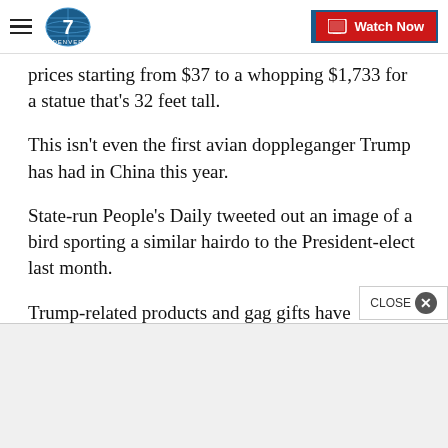Denver7 | Watch Now
prices starting from $37 to a whopping $1,733 for a statue that's 32 feet tall.
This isn't even the first avian doppleganger Trump has had in China this year.
State-run People's Daily tweeted out an image of a bird sporting a similar hairdo to the President-elect last month.
Trump-related products and gag gifts have proliferated since the real estate mogul announced his candidac